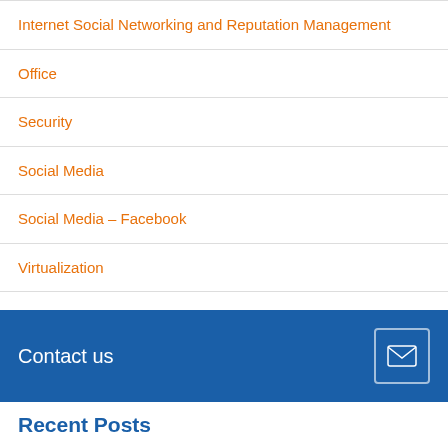Internet Social Networking and Reputation Management
Office
Security
Social Media
Social Media – Facebook
Virtualization
Virtualization General
Contact us
Recent Posts